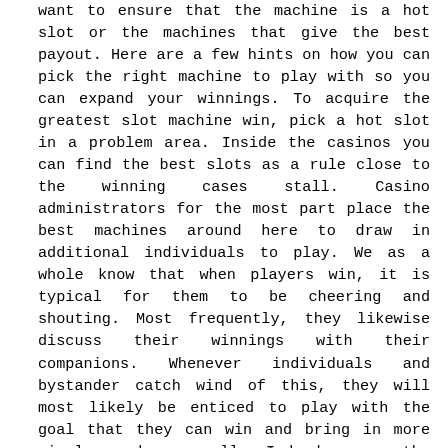want to ensure that the machine is a hot slot or the machines that give the best payout. Here are a few hints on how you can pick the right machine to play with so you can expand your winnings. To acquire the greatest slot machine win, pick a hot slot in a problem area. Inside the casinos you can find the best slots as a rule close to the winning cases stall. Casino administrators for the most part place the best machines around here to draw in additional individuals to play. We as a whole know that when players win, it is typical for them to be cheering and shouting. Most frequently, they likewise discuss their winnings with their companions. Whenever individuals and bystander catch wind of this, they will most likely be enticed to play with the goal that they can win and bring in more simple cash as well. Indeed, even the people who are as of now playing yet who are continuously losing will be urged to play more with the expectation that they also could get the opportunity of winning.